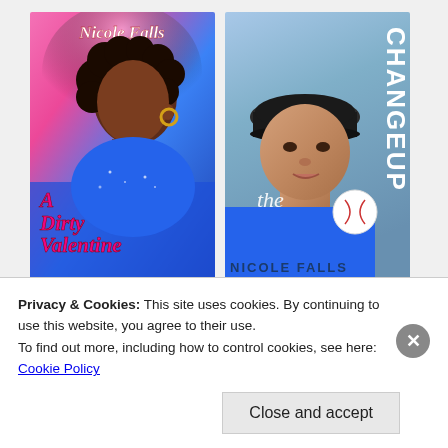[Figure (illustration): Book cover: 'A Dirty Valentine' by Nicole Falls. Pink and blue gradient background with illustrated woman with curly hair and hoop earrings wearing blue sparkly outfit. Title in pink cursive at bottom left.]
[Figure (photo): Book cover: 'The Changeup' by Nicole Falls. Blue sky background with photo of woman in baseball cap holding a ball. Title 'the CHANGEUP' in vertical text on right side, author name at bottom.]
[Figure (illustration): Partial book cover visible at bottom left - appears to show a person's face/head.]
[Figure (illustration): Partial book cover visible at bottom right - shows cursive text in purple/pink, appears to be Nicole Falls.]
Privacy & Cookies: This site uses cookies. By continuing to use this website, you agree to their use.
To find out more, including how to control cookies, see here:
Cookie Policy
Close and accept